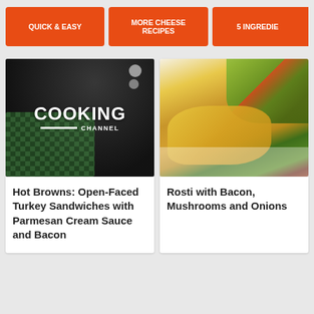QUICK & EASY | MORE CHEESE RECIPES | 5 INGREDIE...
[Figure (screenshot): Cooking Channel logo on dark background with kitchen utensils]
Hot Browns: Open-Faced Turkey Sandwiches with Parmesan Cream Sauce and Bacon
[Figure (photo): Rosti with bacon, mushrooms and onions on a white plate with salad]
Rosti with Bacon, Mushrooms and Onions